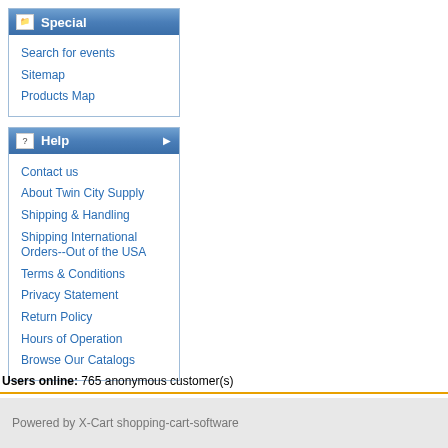Special
Search for events
Sitemap
Products Map
Help
Contact us
About Twin City Supply
Shipping & Handling
Shipping International Orders--Out of the USA
Terms & Conditions
Privacy Statement
Return Policy
Hours of Operation
Browse Our Catalogs
Users online:  765 anonymous customer(s)
Powered by X-Cart shopping-cart-software